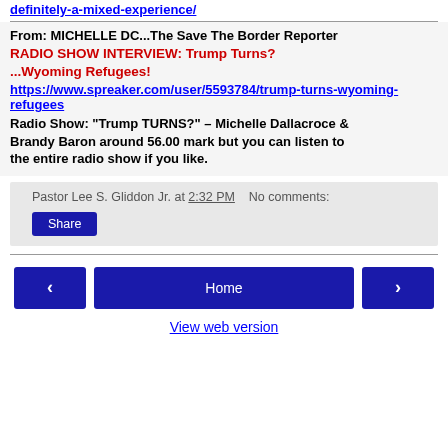definitely-a-mixed-experience/
From: MICHELLE DC...The Save The Border Reporter
RADIO SHOW INTERVIEW: Trump Turns? ...Wyoming Refugees!
https://www.spreaker.com/user/5593784/trump-turns-wyoming-refugees
Radio Show: “Trump TURNS?” – Michelle Dallacroce & Brandy Baron around 56.00 mark but you can listen to the entire radio show if you like.
Pastor Lee S. Gliddon Jr. at 2:32 PM   No comments:
Share
Home | View web version